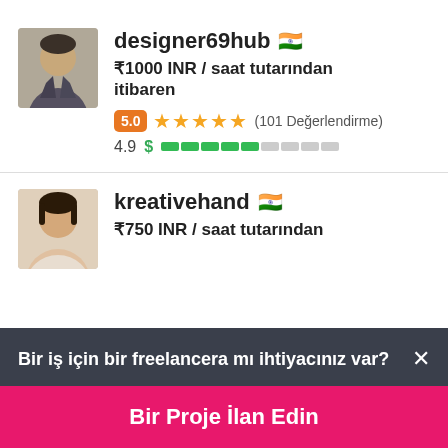designer69hub 🇮🇳
₹1000 INR / saat tutarından itibaren
5.0 ★★★★★ (101 Değerlendirme)
4.9  $ [bar indicator]
kreativehand 🇮🇳
₹750 INR / saat tutarından
Bir iş için bir freelancera mı ihtiyacınız var?  ×
Bir Proje İlan Edin